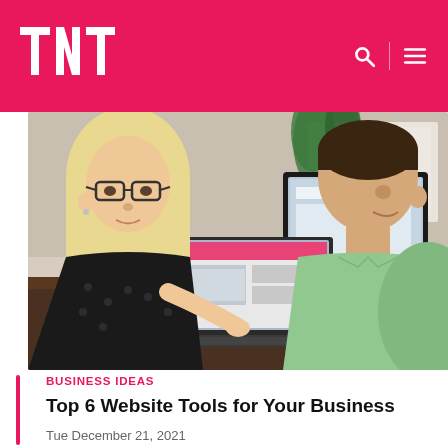TNT logo with navigation icons
[Figure (photo): Two people (woman with blonde hair and glasses in dark top, man in light green shirt) sitting at a desk looking at a laptop and desktop computer screen, in an office environment]
BUSINESS IDEAS
Top 6 Website Tools for Your Business
Tue December 21, 2021
Websites are built by businesses to increase leads and convert better. There is no doubt that...